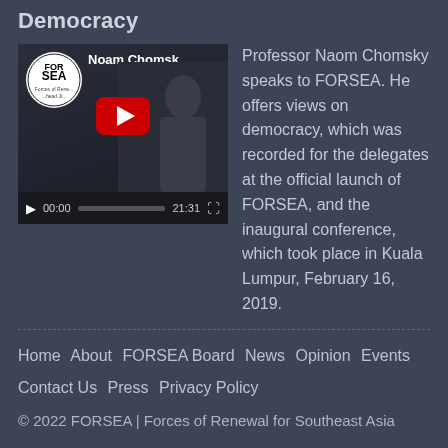Democracy
[Figure (screenshot): YouTube video player thumbnail showing Noam Chomsky video titled 'Noam Chomsk...' with FORSEA logo, red play button overlay, video controls showing 00:00 / 21:31]
Professor Naom Chomsky speaks to FORSEA. He offers views on democracy, which was recorded for the delegates at the official launch of FORSEA, and the inaugural conference, which took place in Kuala Lumpur, February 16, 2019.
Home   About   FORSEA Board   News   Opinion   Events   Contact Us   Press   Privacy Policy
© 2022 FORSEA | Forces of Renewal for Southeast Asia